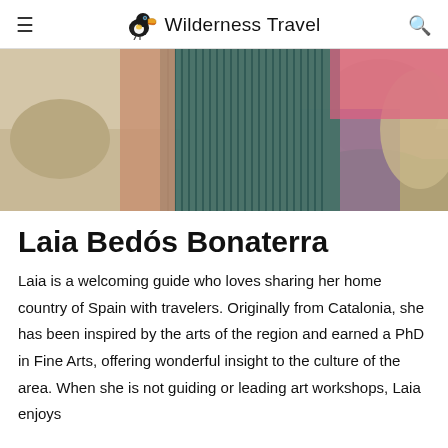≡  Wilderness Travel  🔍
[Figure (photo): Close-up photo of a person holding a bundle of dark teal/green ropes or cables, wearing a pink top and purple clothing, with rocky terrain in the background.]
Laia Bedós Bonaterra
Laia is a welcoming guide who loves sharing her home country of Spain with travelers. Originally from Catalonia, she has been inspired by the arts of the region and earned a PhD in Fine Arts, offering wonderful insight to the culture of the area. When she is not guiding or leading art workshops, Laia enjoys